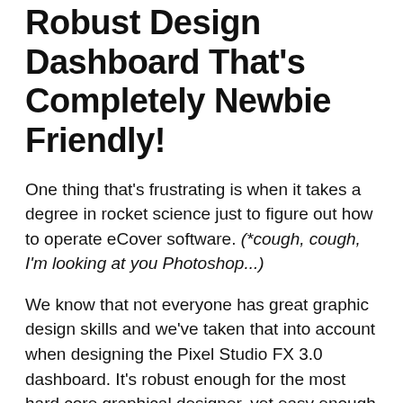Robust Design Dashboard That's Completely Newbie Friendly!
One thing that's frustrating is when it takes a degree in rocket science just to figure out how to operate eCover software. (*cough, cough, I'm looking at you Photoshop...)
We know that not everyone has great graphic design skills and we've taken that into account when designing the Pixel Studio FX 3.0 dashboard. It's robust enough for the most hard core graphical designer, yet easy enough for the complete newbie to get started right away!
[Figure (photo): Partial image visible at bottom of page, cropped]